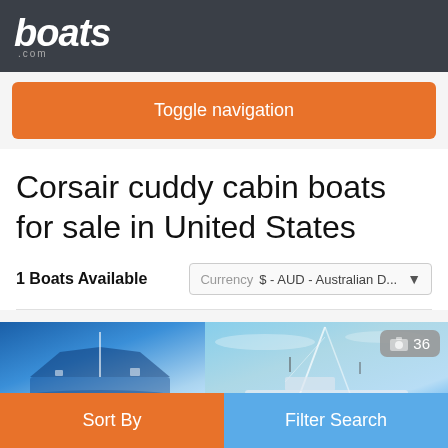boats.com
Toggle navigation
Corsair cuddy cabin boats for sale in United States
1 Boats Available
Currency $ - AUD - Australian D...
[Figure (photo): Two photos of boats side by side; right image has a photo count badge showing 36]
Sort By
Filter Search